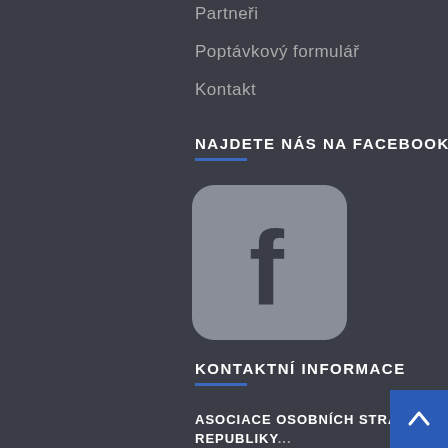Partneři
Poptávkový formulář
Kontakt
NAJDETE NÁS NA FACEBOOKU!
[Figure (logo): Facebook logo icon — rounded square with grey background and white 'f' letterform]
KONTAKTNÍ INFORMACE
ASOCIACE OSOBNÍCH STRÁŽCŮ ČESKÉ REPUBLIKY...